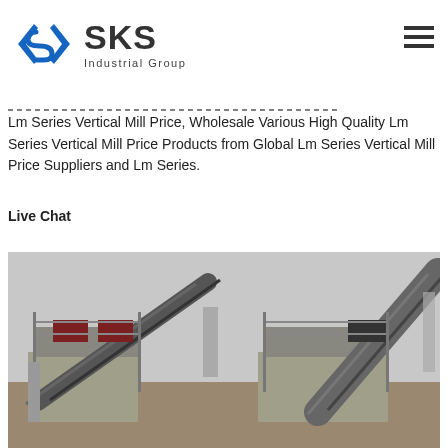[Figure (logo): SKS Industrial Group logo with blue angular S-shaped emblem and bold SKS text with 'Industrial Group' subtitle]
Lm Series Vertical Mill Price, Wholesale Various High Quality Lm Series Vertical Mill Price Products from Global Lm Series Vertical Mill Price Suppliers and Lm Series.
Live Chat
[Figure (photo): Industrial mining/crushing facility with large conveyor belts and machinery on elevated concrete platforms]